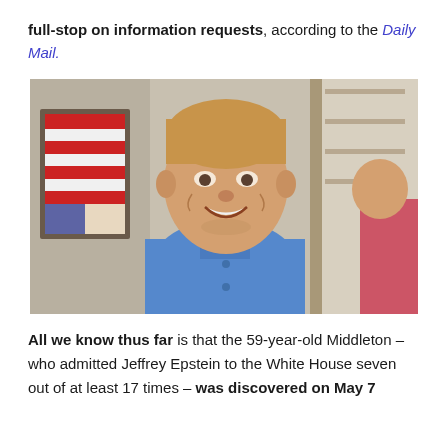full-stop on information requests, according to the Daily Mail.
[Figure (photo): A smiling middle-aged man with light brown/blonde hair, wearing a blue button-down shirt, photographed indoors with artwork and a bookshelf visible in the background, and a person in a pink/red top partially visible on the right.]
All we know thus far is that the 59-year-old Middleton – who admitted Jeffrey Epstein to the White House seven out of at least 17 times – was discovered on May 7